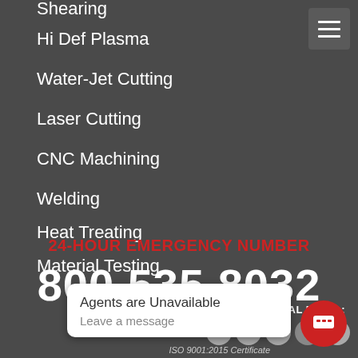Shearing
Hi Def Plasma
Water-Jet Cutting
Laser Cutting
CNC Machining
Welding
Heat Treating
Material Testing
24-HOUR EMERGENCY NUMBER
800.535.8032
FOLLOW US ON SOCIAL MEDIA:
[Figure (screenshot): Social media icons row (Facebook, Twitter, LinkedIn, YouTube, Instagram)]
Agents are Unavailable
Leave a message
ISO 9001:2015 Certificate